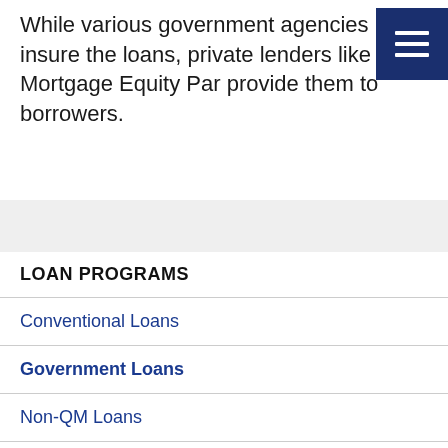While various government agencies insure the loans, private lenders like Mortgage Equity Par provide them to borrowers.
LOAN PROGRAMS
Conventional Loans
Government Loans
Non-QM Loans
Specialty Loan Programs